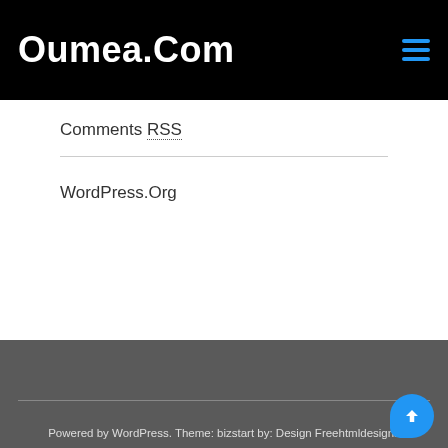Oumea.Com
Comments RSS
WordPress.Org
Powered by WordPress. Theme: bizstart by: Design Freehtmldesigns